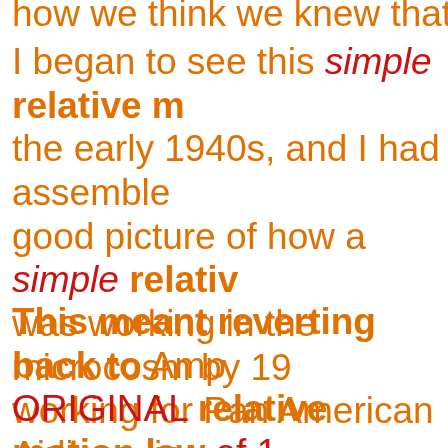I began to see this simple relative motion in the early 1940s, and I had assembled a good picture of how a simple relative motion was working in the microcosm by 19... working for Pan American Airlines, in ... Department, using my U.S. 1st Class ... License with RADAR Endorsement #...
This meant reverting back to Ampere's ORIGINAL relative motion law of 1... disregarding ALL later laws using fie... which even includes Ampère's later l...
It was crystal clear to me then, that... only ONE simple relative motion ru... these forces in our universe. In fact,...